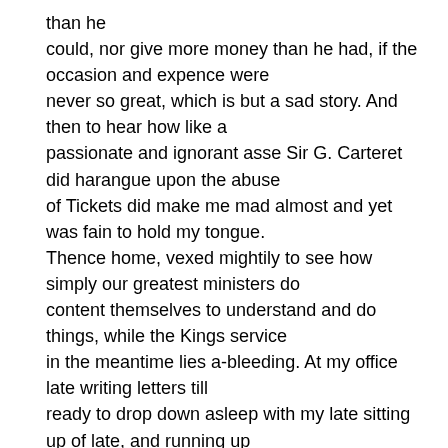than he could, nor give more money than he had, if the occasion and expence were never so great, which is but a sad story. And then to hear how like a passionate and ignorant asse Sir G. Carteret did harangue upon the abuse of Tickets did make me mad almost and yet was fain to hold my tongue. Thence home, vexed mightily to see how simply our greatest ministers do content themselves to understand and do things, while the Kings service in the meantime lies a-bleeding. At my office late writing letters till ready to drop down asleep with my late sitting up of late, and running up and down a-days. So to bed.
2nd (Lords day). At my office all the morning, renewing my